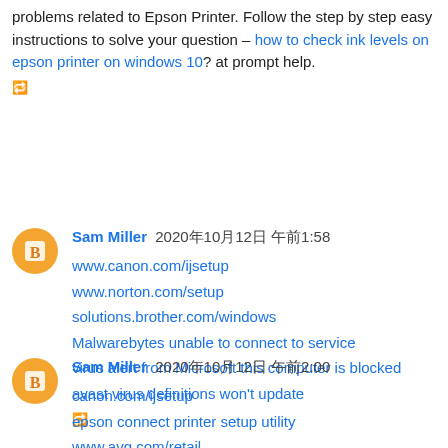problems related to Epson Printer. Follow the step by step easy instructions to solve your question – how to check ink levels on epson printer on windows 10? at prompt help.
🔁 [reply icon]
Sam Miller 2020年10月12日 午前1:58
www.canon.com/ijsetup
www.norton.com/setup
solutions.brother.com/windows
Malwarebytes unable to connect to service
virus alert from Microsoft this computer is blocked
avast virus definitions won't update
🔁 [reply icon]
Sam Miller 2020年10月12日 午前2:00
canon.com/ijsetup
epson connect printer setup utility
www.avg.com/retail
how to install Norton antivirus on Windows 10